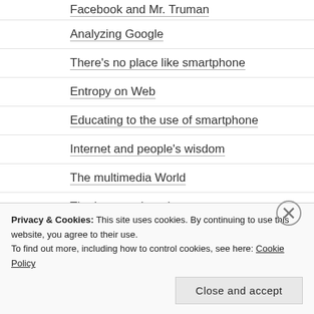Facebook and Mr. Truman
Analyzing Google
There's no place like smartphone
Entropy on Web
Educating to the use of smartphone
Internet and people's wisdom
The multimedia World
The Internet thought
The Google Doodle
Lonely window: Alone in front of the computer
Privacy & Cookies: This site uses cookies. By continuing to use this website, you agree to their use.
To find out more, including how to control cookies, see here: Cookie Policy
Close and accept